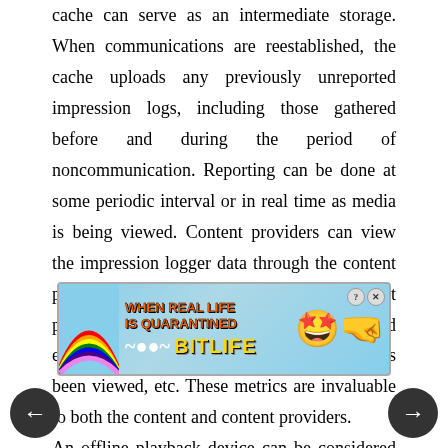cache can serve as an intermediate storage. When communications are reestablished, the cache uploads any previously unreported impression logs, including those gathered before and during the period of noncommunication. Reporting can be done at some periodic interval or in real time as media is being viewed. Content providers can view the impression logger data through the content provider interface 412. This allows content providers to see how many people have viewed each piece of media content, how often it has been viewed, etc. These metrics are invaluable to both the content and content providers. An offline playback device can be considered an extension of the online playback device, since the
[Figure (other): Advertisement overlay for BitLife game: 'WHEN REAL LIFE IS QUARANTINED' with rainbow graphic, wave symbol, BitLife logo, emoji face with stars for eyes, and navigation arrows]